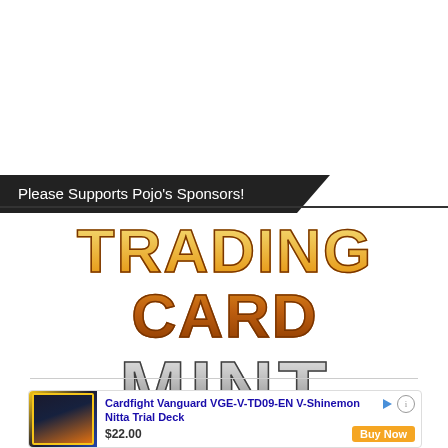Please Supports Pojo's Sponsors!
[Figure (logo): Trading Card Mint logo with orange/gold gradient text for 'TRADING CARD' and silver/grey gradient text for 'MINT']
[Figure (infographic): Advertisement box for Cardfight Vanguard VGE-V-TD09-EN V-Shinemon Nitta Trial Deck showing product image, title, price $22.00 and Buy Now button]